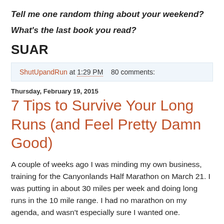Tell me one random thing about your weekend?
What's the last book you read?
SUAR
ShutUpandRun at 1:29 PM   80 comments:
Thursday, February 19, 2015
7 Tips to Survive Your Long Runs (and Feel Pretty Damn Good)
A couple of weeks ago I was minding my own business, training for the Canyonlands Half Marathon on March 21. I was putting in about 30 miles per week and doing long runs in the 10 mile range. I had no marathon on my agenda, and wasn't especially sure I wanted one.
Then, this happened. I fell over myself saying “yes” because